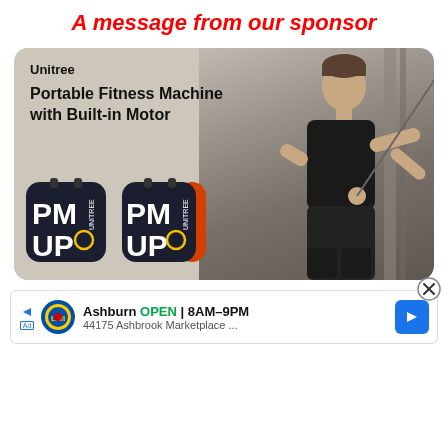A message from our sponsor
[Figure (photo): Advertisement for Unitree Portable Fitness Machine with Built-in Motor. Shows two dark navy/black compact fitness devices with 'PM UP' text on them (one with orange accent), and a muscular man in a black tank top using the device attached to a door frame with a cable.]
[Figure (infographic): Bottom banner ad for Lidl store in Ashburn. Shows Lidl logo, text 'Ashburn OPEN 8AM-9PM' and '44175 Ashbrook Marketplace ...' with a blue navigation arrow button and a close (X) button.]